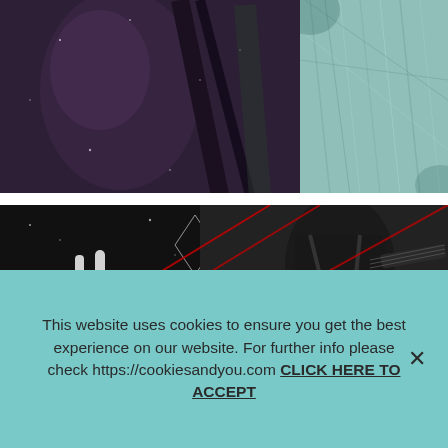[Figure (photo): Top left: dark moody photo with purple-brown tones, appears to show a face or figure with grainy texture. Top right: teal/mint colored textured surface with scratched appearance. Bottom band: dark concert/music themed composite image showing a hand making rock gesture with white line art overlay on left side, and a guitarist in black clothing on the right, with red diagonal lines overlaying the composite.]
This website uses cookies to ensure you get the best experience on our website. For further info please check https://cookiesandyou.com CLICK HERE TO ACCEPT